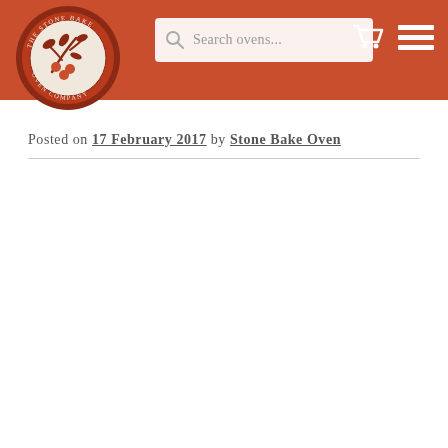The Stone Bake Oven Company — Search ovens...
Posted on 17 February 2017 by Stone Bake Oven